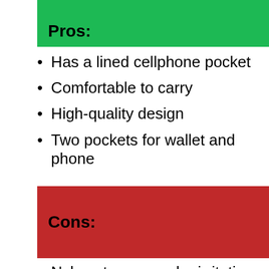Pros:
Has a lined cellphone pocket
Comfortable to carry
High-quality design
Two pockets for wallet and phone
Cons:
Nylon straps may be irritating
Not large enough for multiple laptops